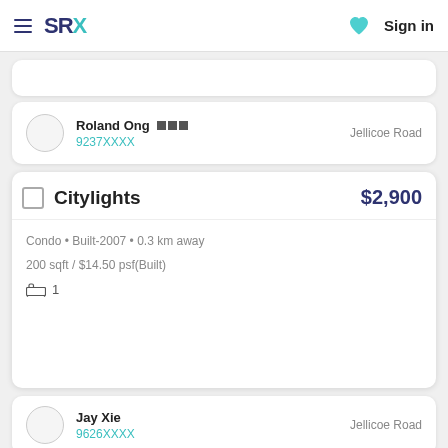SRX  Sign in
Roland Ong  9237XXXX  Jellicoe Road
Citylights  $2,900  Condo • Built-2007 • 0.3 km away  200 sqft / $14.50 psf(Built)  1
Jay Xie  9626XXXX  Jellicoe Road